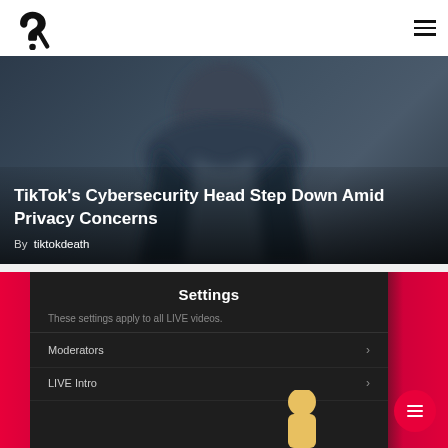[Figure (logo): Stylized question mark logo in black]
[Figure (photo): Person in dark suit, article card with title overlay]
TikTok's Cybersecurity Head Step Down Amid Privacy Concerns
By  tiktokdeath
[Figure (screenshot): TikTok Settings screen showing Moderators and LIVE Intro options, with character illustration]